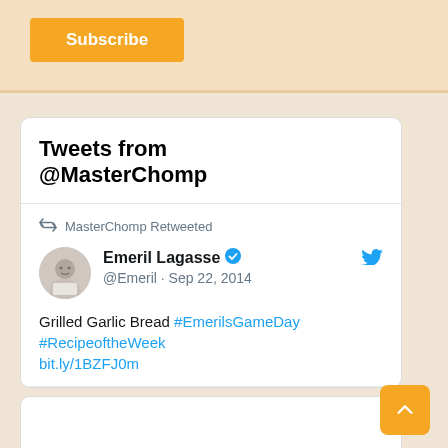Subscribe
Tweets from @MasterChomp
MasterChomp Retweeted
Emeril Lagasse @Emeril · Sep 22, 2014
Grilled Garlic Bread #EmerilsGameDay #RecipeoftheWeek bit.ly/1BZFJ0m